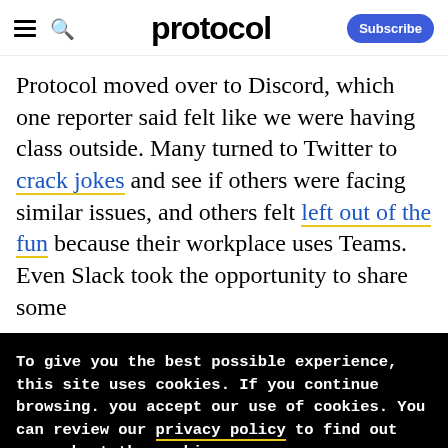protocol — Subscribe
Protocol moved over to Discord, which one reporter said felt like we were having class outside. Many turned to Twitter to crack jokes and see if others were facing similar issues, and others felt left out of the fun because their workplace uses Teams. Even Slack took the opportunity to share some
To give you the best possible experience, this site uses cookies. If you continue browsing. you accept our use of cookies. You can review our privacy policy to find out more about the cookies we use.
Accept